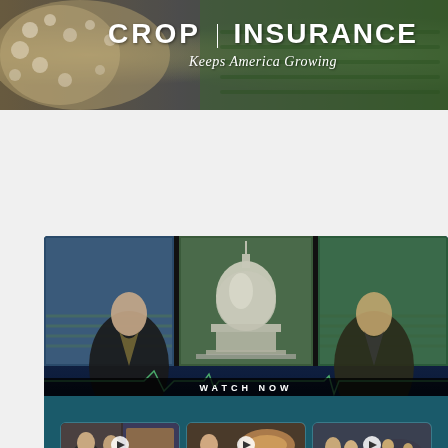[Figure (photo): Crop Insurance banner with white text 'CROP INSURANCE' and tagline 'Keeps America Growing' over a background showing crops]
[Figure (photo): Agri-Pulse Newsmakers advertisement showing two men in a TV studio with US Capitol backdrop, thumbnails of video clips, 'WATCH NOW' strip, tagline 'Taking you into the heart of ag policy.' and Agri-Pulse Newsmakers logo]
[Figure (photo): Ag Outlook Forum banner with text 'Ag Outlook Forum September 26, 2022 Kansas City or virtually' on a wood-textured background]